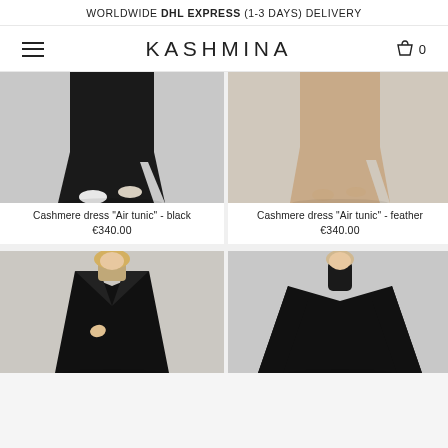WORLDWIDE DHL EXPRESS (1-3 DAYS) DELIVERY
KASHMINA
[Figure (photo): Lower body of model wearing black cashmere tunic dress and white sneakers on grey background]
Cashmere dress "Air tunic" - black
€340.00
[Figure (photo): Lower body of model wearing feather/beige cashmere tunic dress, barefoot on grey background]
Cashmere dress "Air tunic" - feather
€340.00
[Figure (photo): Model with blonde hair wearing black cashmere coat over beige turtleneck]
[Figure (photo): Model wearing black cashmere poncho with turtleneck]